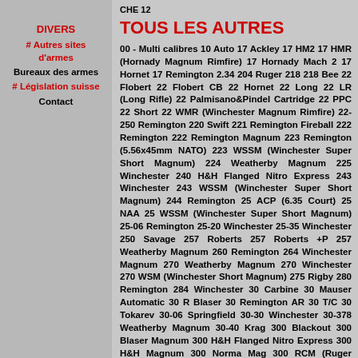CHE 12
DIVERS
# Autres sites d'armes
Bureaux des armes
# Législation suisse
Contact
TOUS LES AUTRES
00 - Multi calibres 10 Auto 17 Ackley 17 HM2 17 HMR (Hornady Magnum Rimfire) 17 Hornady Mach 2 17 Hornet 17 Remington 2.34 204 Ruger 218 218 Bee 22 Flobert 22 Flobert CB 22 Hornet 22 Long 22 LR (Long Rifle) 22 Palmisano&Pindel Cartridge 22 PPC 22 Short 22 WMR (Winchester Magnum Rimfire) 22-250 Remington 220 Swift 221 Remington Fireball 222 Remington 222 Remington Magnum 223 Remington (5.56x45mm NATO) 223 WSSM (Winchester Super Short Magnum) 224 Weatherby Magnum 225 Winchester 240 H&H Flanged Nitro Express 243 Winchester 243 WSSM (Winchester Super Short Magnum) 244 Remington 25 ACP (6.35 Court) 25 NAA 25 WSSM (Winchester Super Short Magnum) 25-06 Remington 25-20 Winchester 25-35 Winchester 250 Savage 257 Roberts 257 Roberts +P 257 Weatherby Magnum 260 Remington 264 Winchester Magnum 270 Weatherby Magnum 270 Winchester 270 WSM (Winchester Short Magnum) 275 Rigby 280 Remington 284 Winchester 30 Carbine 30 Mauser Automatic 30 R Blaser 30 Remington AR 30 T/C 30 Tokarev 30-06 Springfield 30-30 Winchester 30-378 Weatherby Magnum 30-40 Krag 300 Blackout 300 Blaser Magnum 300 H&H Flanged Nitro Express 300 H&H Magnum 300 Norma Mag 300 RCM (Ruger Compact Magnum) 300 Remington Short Action Ultra Magnum 300 Remington Ultra Magnum 300 S…